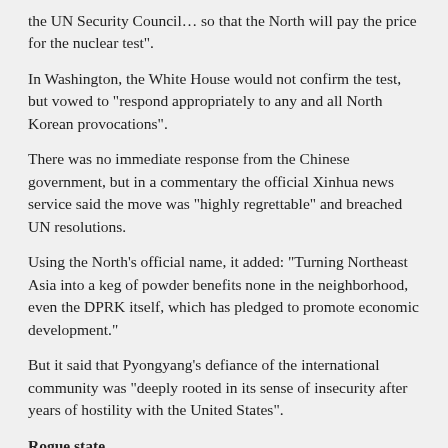the UN Security Council… so that the North will pay the price for the nuclear test".
In Washington, the White House would not confirm the test, but vowed to "respond appropriately to any and all North Korean provocations".
There was no immediate response from the Chinese government, but in a commentary the official Xinhua news service said the move was "highly regrettable" and breached UN resolutions.
Using the North's official name, it added: "Turning Northeast Asia into a keg of powder benefits none in the neighborhood, even the DPRK itself, which has pledged to promote economic development."
But it said that Pyongyang's defiance of the international community was "deeply rooted in its sense of insecurity after years of hostility with the United States".
Rogue state